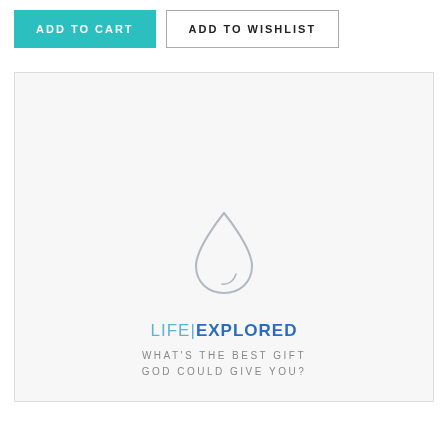ADD TO CART
ADD TO WISHLIST
[Figure (illustration): Product book cover for 'Life Explored: What's the best gift God could give you?' showing a water drop icon above the text LIFE|EXPLORED and subtitle WHAT'S THE BEST GIFT GOD COULD GIVE YOU?]